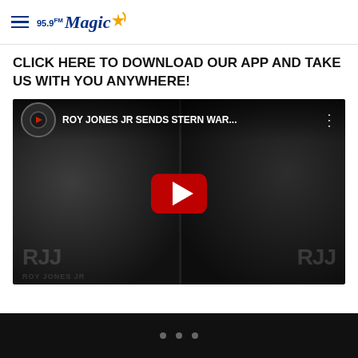95.9FM Magic
CLICK HERE TO DOWNLOAD OUR APP AND TAKE US WITH YOU ANYWHERE!
[Figure (screenshot): YouTube video thumbnail showing Roy Jones Jr sending a stern warning, with two side-by-side views of a man in a dark shirt. Video title: ROY JONES JR SENDS STERN WAR... with a red play button overlay.]
• • •